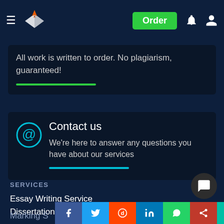Order
All work is written to order. No plagiarism, guaranteed!
Contact us
We're here to answer any questions you have about our services
SERVICES
Essay Writing Service
Dissertation Services
Marking S[ervices]